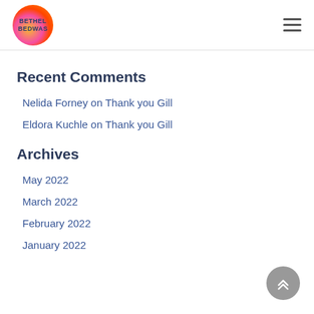Bethel Bedwas
Recent Comments
Nelida Forney on Thank you Gill
Eldora Kuchle on Thank you Gill
Archives
May 2022
March 2022
February 2022
January 2022